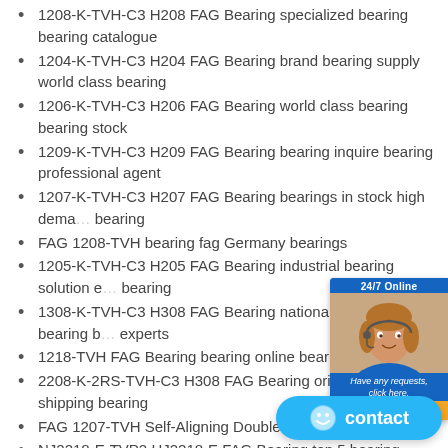1208-K-TVH-C3 H208 FAG Bearing specialized bearing bearing catalogue
1204-K-TVH-C3 H204 FAG Bearing brand bearing supply world class bearing
1206-K-TVH-C3 H206 FAG Bearing world class bearing bearing stock
1209-K-TVH-C3 H209 FAG Bearing bearing inquire bearing professional agent
1207-K-TVH-C3 H207 FAG Bearing bearings in stock high demand bearing
FAG 1208-TVH bearing fag Germany bearings
1205-K-TVH-C3 H205 FAG Bearing industrial bearing solution e… bearing
1308-K-TVH-C3 H308 FAG Bearing national precision bearing b… experts
1218-TVH FAG Bearing bearing online bearing catalogue
2208-K-2RS-TVH-C3 H308 FAG Bearing original bearing fast shipping bearing
FAG 1207-TVH Self-Aligning Double Row Ball Bearing for
NJ2218-E-TVP2 HJ2218-E FAG Bearing top 5 bearing bearing online store
NJ2204-E-TVP2 HJ2204-E FAG Bearing bearing ex… company
NJ… FAG Bearing bearing…
[Figure (illustration): 24/7 Online chat widget with a female customer service representative photo, 'Have any requests, click here.' text, and an orange Quotation button]
[Figure (illustration): Blue rounded contact button with smiley face icon and 'contact' label]